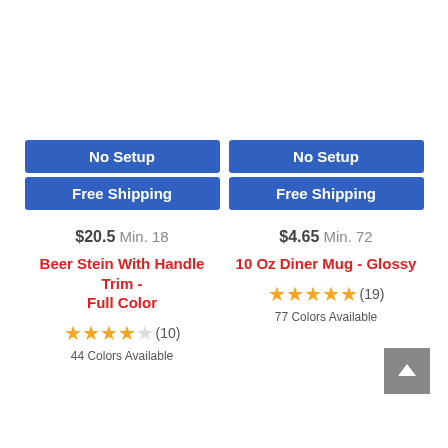[Figure (screenshot): Two product listing cards side by side. Left card: 'No Setup' and 'Free Shipping' blue badges, price '$20.5 Min. 18', product title 'Beer Stein With Handle Trim - Full Color', 4.5 star rating (10 reviews), 44 Colors Available. Right card: 'No Setup' and 'Free Shipping' blue badges, price '$4.65 Min. 72', product title '10 Oz Diner Mug - Glossy', 4.5 star rating (19 reviews), 77 Colors Available.]